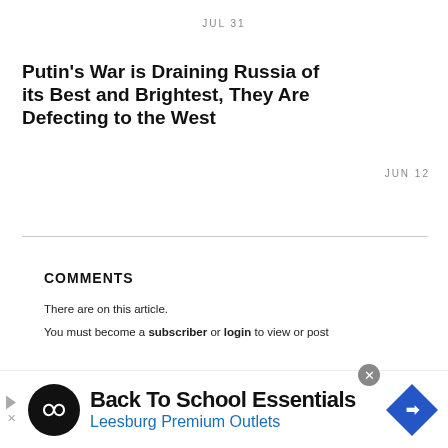JUL 31
Putin’s War is Draining Russia of its Best and Brightest, They Are Defecting to the West
JUN 12
COMMENTS
There are on this article.
You must become a subscriber or login to view or post
[Figure (infographic): Advertisement banner for Back To School Essentials at Leesburg Premium Outlets, with play button, circular logo with infinity-like symbol, and blue diamond icon with arrow.]